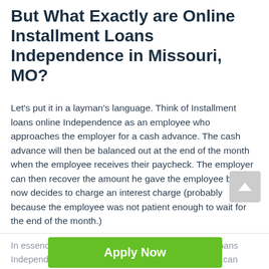But What Exactly are Online Installment Loans Independence in Missouri, MO?
Let's put it in a layman's language. Think of Installment loans online Independence as an employee who approaches the employer for a cash advance. The cash advance will then be balanced out at the end of the month when the employee receives their paycheck. The employer can then recover the amount he gave the employee but now decides to charge an interest charge (probably because the employee was not patient enough to wait for the end of the month.)
In essence, this is precisely what online installment loans Independence are all about. From the illustration, we can deduct that a short installment loan and repaid a limited number of days. It is seen as a short term monetary tool. In Independence, the state regulates the...
[Figure (other): Green 'Apply Now' call-to-action button with note: 'Applying does NOT affect your credit score! No credit check to apply.']